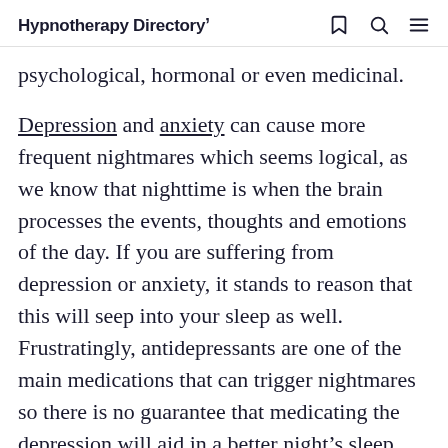Hypnotherapy Directory
psychological, hormonal or even medicinal.
Depression and anxiety can cause more frequent nightmares which seems logical, as we know that nighttime is when the brain processes the events, thoughts and emotions of the day. If you are suffering from depression or anxiety, it stands to reason that this will seep into your sleep as well. Frustratingly, antidepressants are one of the main medications that can trigger nightmares so there is no guarantee that medicating the depression will aid in a better night’s sleep. This is one example of when hypnotherapy can be a good companion to combat nightmares. There is an element of